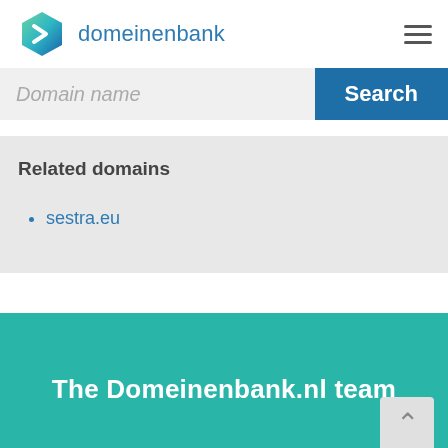domeinenbank
Domain name
Search
Related domains
sestra.eu
The Domeinenbank.nl team